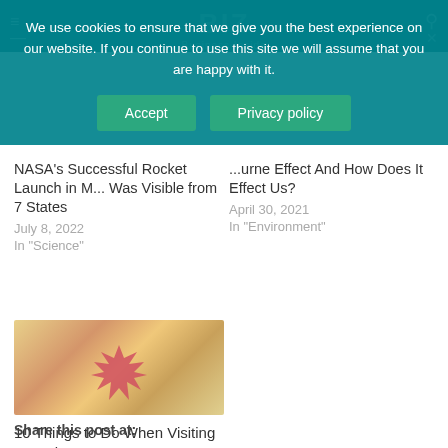We use cookies to ensure that we give you the best experience on our website. If you continue to use this site we will assume that you are happy with it.
Accept
Privacy policy
NASA's Successful Rocket Launch in M... Was Visible from 7 States
July 8, 2022
In "Science"
...urne Effect And How Does It Effect Us?
April 30, 2021
In "Environment"
[Figure (photo): Autumn/fall scene with orange and yellow foliage and a red maple leaf in the foreground]
10 Things to Do When Visiting Canada
August 8, 2022
In "Travel & Tourism"
Share this post at: